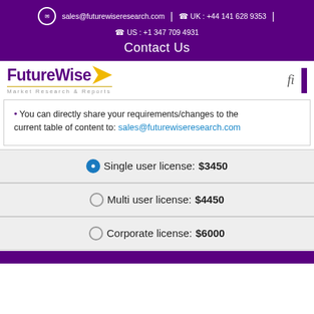✉ sales@futurewiseresearch.com | ☎ UK : +44 141 628 9353 | ☎ US : +1 347 709 4931
Contact Us
[Figure (logo): FutureWise Market Research & Reports logo with yellow arrow and purple text]
• You can directly share your requirements/changes to the current table of content to: sales@futurewiseresearch.com
Single user license: $3450
Multi user license: $4450
Corporate license: $6000